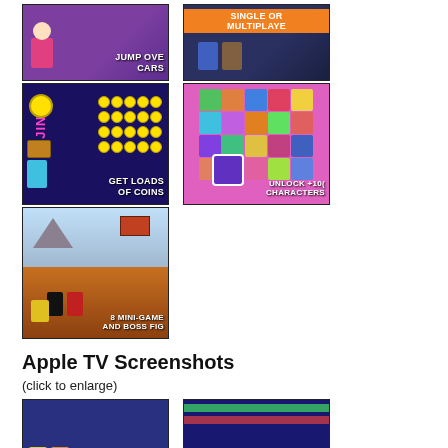[Figure (screenshot): Game screenshot: purple background with 'JUMP OVER CARS' text and pixel character]
[Figure (screenshot): Game screenshot: dark blue background with 'SINGLE OR MULTIPLAYER' text and orange banner]
[Figure (screenshot): Game screenshot: dark blue/purple coin machine game with 'GET LOADS OF COINS' text]
[Figure (screenshot): Game screenshot: colorful character grid with 'UNLOCK +100 CHARACTERS' text]
[Figure (screenshot): Game screenshot: desert scene with ninja characters, '8 MINI-GAMES AND BOSS FIGHTS' text]
Apple TV Screenshots
(click to enlarge)
[Figure (screenshot): Apple TV game screenshot, dark blue background with pixel characters]
[Figure (screenshot): Apple TV game screenshot, colorful game scene]